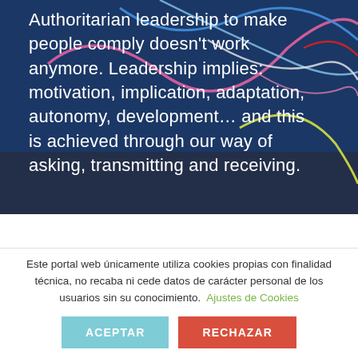[Figure (photo): Dark blue background with colorful rope/wire lines (pink, blue, yellow, white, red) overlaid; serves as hero image background for leadership quote text]
Authoritarian leadership to make people comply doesn't work anymore. Leadership implies: motivation, implication, adaptation, autonomy, development... and this is achieved through our way of asking, transmitting and receiving.
Este portal web únicamente utiliza cookies propias con finalidad técnica, no recaba ni cede datos de carácter personal de los usuarios sin su conocimiento. Ajustes de Cookies